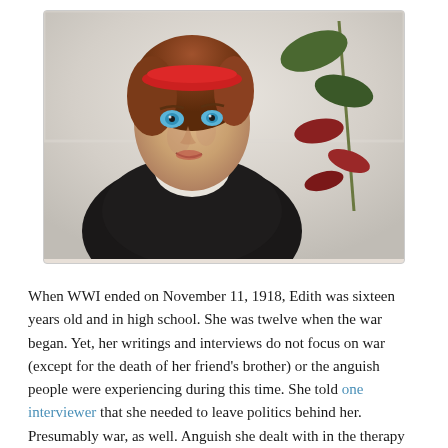[Figure (illustration): Portrait painting of a woman with auburn hair wearing a red headband and dark clothing, holding a plant stem with leaves. Blue eyes, pale skin. Expressionist style painting.]
When WWI ended on November 11, 1918, Edith was sixteen years old and in high school. She was twelve when the war began. Yet, her writings and interviews do not focus on war (except for the death of her friend's brother) or the anguish people were experiencing during this time. She told one interviewer that she needed to leave politics behind her. Presumably war, as well. Anguish she dealt with in the therapy session or the analytic frame.
Nor does she mention the outbreak of the Spanish flu which killed 50 million people, including Egon and Edith Schiele. One wonders if Edith Buxbaum wrote about this period of her life in the diaries she kept and which were unfortunately